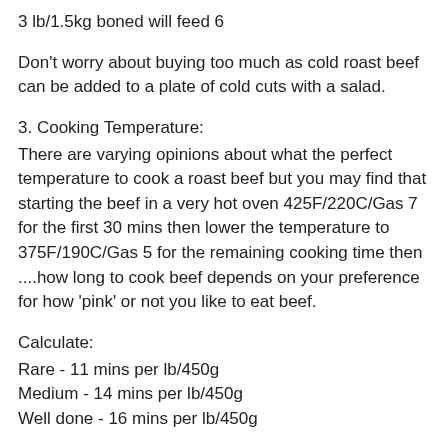3 lb/1.5kg boned will feed 6
Don't worry about buying too much as cold roast beef can be added to a plate of cold cuts with a salad.
3. Cooking Temperature:
There are varying opinions about what the perfect temperature to cook a roast beef but you may find that starting the beef in a very hot oven 425F/220C/Gas 7 for the first 30 mins then lower the temperature to 375F/190C/Gas 5 for the remaining cooking time then ....how long to cook beef depends on your preference for how 'pink' or not you like to eat beef.
Calculate:
Rare - 11 mins per lb/450g
Medium - 14 mins per lb/450g
Well done - 16 mins per lb/450g
These times are based on a normal convection oven, you may want to adjust for a fan oven according to the manufacturers instructions. Another way to work out the